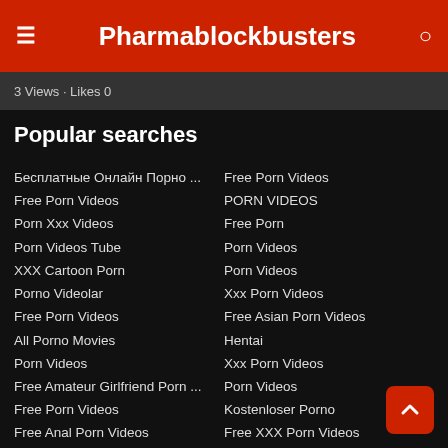Pharmablockbusters
3 Views · Likes 0
Popular searches
Бесплатные Онлайн Порно ...
Free Porn Videos
Porn Xxx Videos
Porn Videos Tube
XXX Cartoon Porn
Porno Videolar
Free Porn Videos
All Porno Movies
Porn Videos
Free Amateur Girlfriend Porn ...
Free Porn Videos
Free Anal Porn Videos
Asian Porn Videos
BBW GF Porn
Bbw Lesbian Porn
Free Porn Videos
PORN VIDEOS
Free Porn
Porn Videos
Porn Videos
Xxx Porn Videos
Free Asian Porn Videos
Hentai
Xxx Porn Videos
Porn Videos
Kostenloser Porno
Free XXX Porn Videos
Free Porn Videos
Porn Videos
Porn Videos Tube